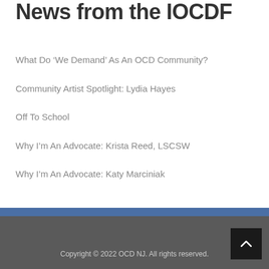News from the IOCDF
What Do ‘We Demand’ As An OCD Community?
Community Artist Spotlight: Lydia Hayes
Off To School
Why I’m An Advocate: Krista Reed, LSCSW
Why I’m An Advocate: Katy Marciniak
Copyright © 2022 OCD NJ. All rights reserved.